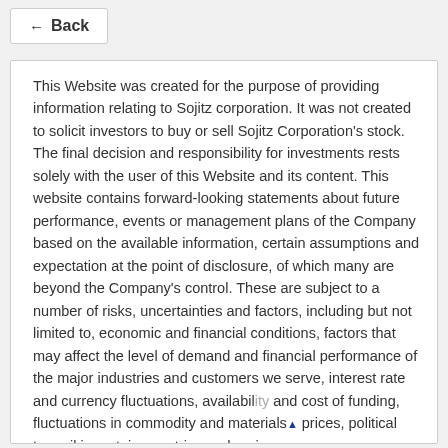← Back
This Website was created for the purpose of providing information relating to Sojitz corporation. It was not created to solicit investors to buy or sell Sojitz Corporation's stock. The final decision and responsibility for investments rests solely with the user of this Website and its content. This website contains forward-looking statements about future performance, events or management plans of the Company based on the available information, certain assumptions and expectation at the point of disclosure, of which many are beyond the Company's control. These are subject to a number of risks, uncertainties and factors, including but not limited to, economic and financial conditions, factors that may affect the level of demand and financial performance of the major industries and customers we serve, interest rate and currency fluctuations, availability and cost of funding, fluctuations in commodity and materials prices, political turmoil in certain countries and regions,